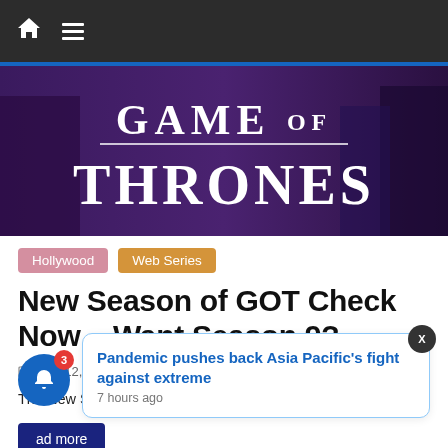Navigation bar with home and menu icons
[Figure (photo): Game of Thrones banner image showing the title 'GAME OF THRONES' in large decorative serif font with a fantasy/medieval background featuring robed figures]
Hollywood   Web Series
New Season of GOT Check Now – Want Season 9?
May 12, 2020   yehtrendinghai   0 Comments
The New Seas of very big an
ad more
Pandemic pushes back Asia Pacific's fight against extreme
7 hours ago